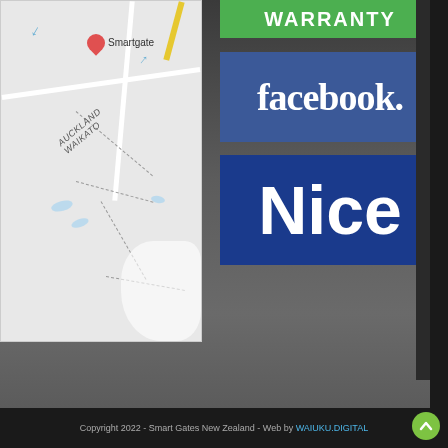[Figure (map): Google Maps screenshot showing location of Smartgate in Auckland/Waikato region with a red pin marker]
[Figure (logo): Green banner with WARRANTY text (partially visible)]
[Figure (logo): Facebook logo banner - blue background with white 'facebook.' text]
[Figure (logo): Nice brand banner - dark blue background with white 'Nice' text]
[Figure (photo): Background photo of dark asphalt/concrete with gate structure on right side]
Copyright 2022 - Smart Gates New Zealand - Web by WAIUKU.DIGITAL